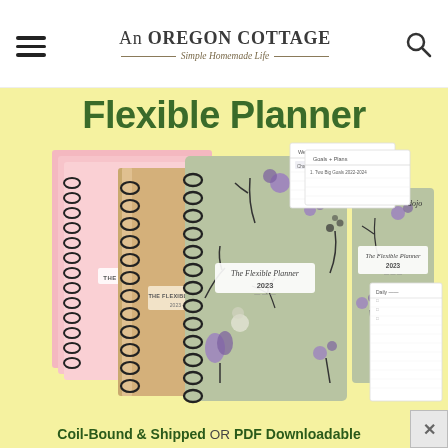An Oregon Cottage — Simple Homemade Life
[Figure (illustration): Advertisement banner for The Flexible Planner showing spiral-bound coil planners with floral covers in sage green with purple flowers, plus sample interior pages showing weekly planner and goals pages. Yellow background. Text reads 'Flexible Planner' at top and 'Coil-Bound & Shipped OR PDF Downloadable' at bottom.]